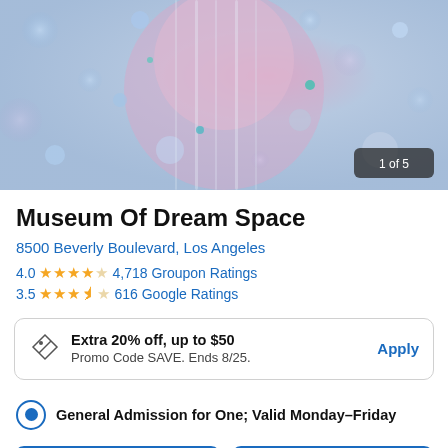[Figure (photo): Person wearing pink outfit standing in an immersive light installation with glittering bokeh effects in blues and pinks. Badge showing '1 of 5' in bottom right corner.]
Museum Of Dream Space
8500 Beverly Boulevard, Los Angeles
4.0 ★★★★☆ 4,718 Groupon Ratings
3.5 ★★★½☆ 616 Google Ratings
Extra 20% off, up to $50 Promo Code SAVE. Ends 8/25. Apply
General Admission for One; Valid Monday–Friday
Add to Cart
Buy Now